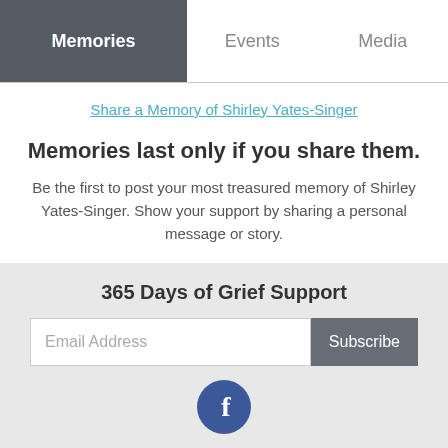Memories | Events | Media
Share a Memory of Shirley Yates-Singer
Memories last only if you share them.
Be the first to post your most treasured memory of Shirley Yates-Singer. Show your support by sharing a personal message or story.
365 Days of Grief Support
Email Address | Subscribe
[Figure (logo): Facebook logo circular icon with white 'f' on dark blue background]
© Epstein Memorial Chapel
Website Designed by funeralOne